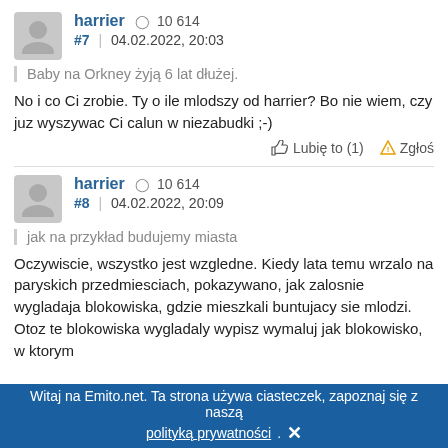harrier  10 614  #7 | 04.02.2022, 20:03
Baby na Orkney żyją 6 lat dłużej.
No i co Ci zrobie. Ty o ile mlodszy od harrier? Bo nie wiem, czy juz wyszywac Ci calun w niezabudki ;-)
Lubię to (1)  Zgłoś
harrier  10 614  #8 | 04.02.2022, 20:09
jak na przykład budujemy miasta
Oczywiscie, wszystko jest wzgledne. Kiedy lata temu wrzalo na paryskich przedmiesciach, pokazywano, jak zalosnie wygladaja blokowiska, gdzie mieszkali buntujacy sie mlodzi. Otoz te blokowiska wygladaly wypisz wymaluj jak blokowisko, w ktorym
Witaj na Emito.net. Ta strona używa ciasteczek, zapoznaj się z naszą polityką prywatności. ✕